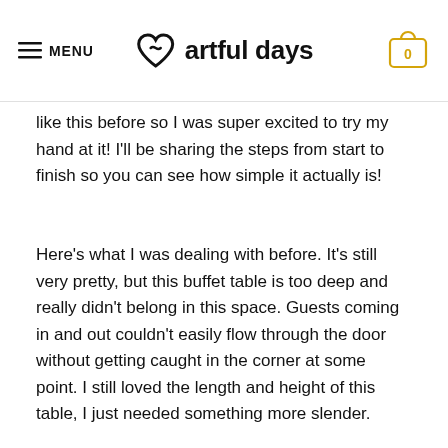MENU  artful days
like this before so I was super excited to try my hand at it! I'll be sharing the steps from start to finish so you can see how simple it actually is!
Here's what I was dealing with before. It's still very pretty, but this buffet table is too deep and really didn't belong in this space. Guests coming in and out couldn't easily flow through the door without getting caught in the corner at some point. I still loved the length and height of this table, I just needed something more slender.
[Figure (photo): Interior room photo showing ceiling with pendant light, arched window, and neutral beige/grey walls. reCAPTCHA badge visible in lower right corner.]